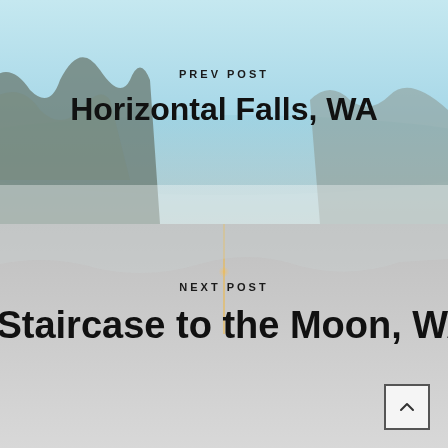[Figure (photo): Aerial photo of coastal cliffs and blue-green water — background for PREV POST section]
PREV POST
Horizontal Falls, WA
[Figure (photo): Grey misty background with a light beam — background for NEXT POST section]
NEXT POST
Staircase to the Moon, WA